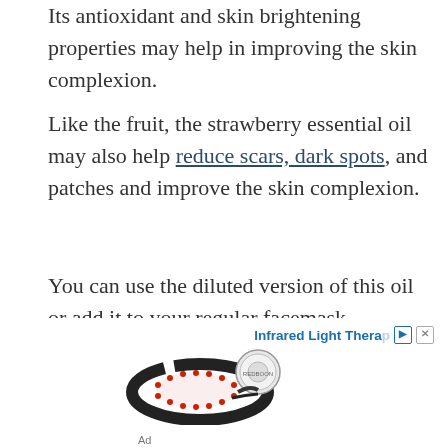Its antioxidant and skin brightening properties may help in improving the skin complexion.
Like the fruit, the strawberry essential oil may also help reduce scars, dark spots, and patches and improve the skin complexion.
You can use the diluted version of this oil or add it to your regular facemask.
[Figure (photo): Advertisement showing an infrared light therapy device (curved wearable LED device with a circular control unit), with text 'Infrared Light Thera...' and an Ad label below]